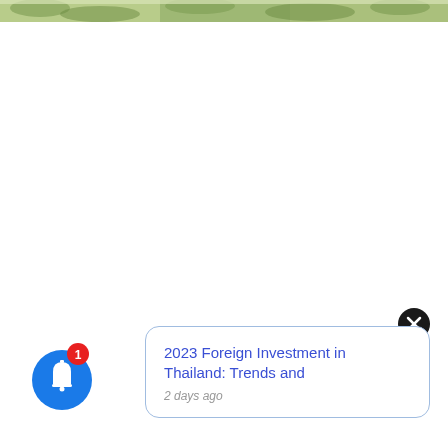[Figure (photo): Top banner image showing green foliage/plants, partially cropped at top edge]
[Figure (infographic): Blue circular bell notification icon with red badge showing count '1', positioned at bottom left]
[Figure (other): Black circular close button with white X, positioned at right side]
2023 Foreign Investment in Thailand: Trends and
2 days ago